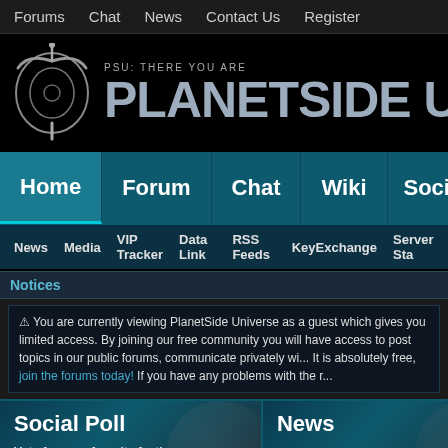Forums  Chat  News  Contact Us  Register
[Figure (logo): PlanetSide Universe logo with circular icon and text 'PSU: THERE YOU ARE' above large 'PLANETSIDE UNIV' text on black background]
Home  Forum  Chat  Wiki  Soci
News  Media  VIP Tracker  Data Link  RSS Feeds  KeyExchange  Server Sta
Notices
⚠ You are currently viewing PlanetSide Universe as a guest which gives you limited access. By joining our free community you will have access to post topics in our public forums, communicate privately wi... It is absolutely free, join the forums today! If you have any problems with the r...
Social Poll
News
Vote for your favorite faction: